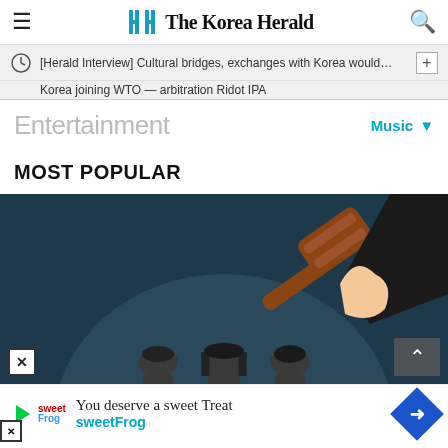The Korea Herald
[Herald Interview] Cultural bridges, exchanges with Korea would…
Entertainment
Music
MOST POPULAR
[Figure (illustration): Illustration of a judge's gavel being swung toward a group of three faceless silhouetted figures on a dark teal background]
You deserve a sweet Treat
sweetFrog